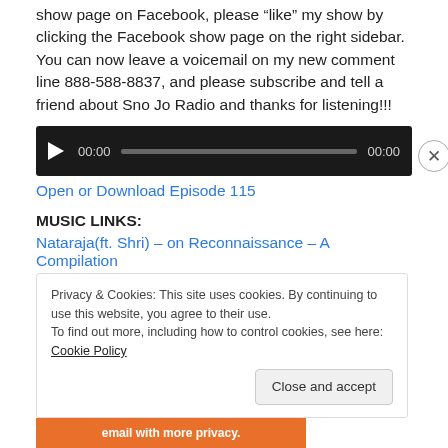show page on Facebook, please “like” my show by clicking the Facebook show page on the right sidebar. You can now leave a voicemail on my new comment line 888-588-8837, and please subscribe and tell a friend about Sno Jo Radio and thanks for listening!!!
[Figure (other): Audio player with play button, time display 00:00, progress bar, and end time 00:00 on a dark background.]
Open or Download Episode 115
MUSIC LINKS:
Nataraja(ft. Shri) – on Reconnaissance – A Compilation
Privacy & Cookies: This site uses cookies. By continuing to use this website, you agree to their use.
To find out more, including how to control cookies, see here: Cookie Policy
Close and accept